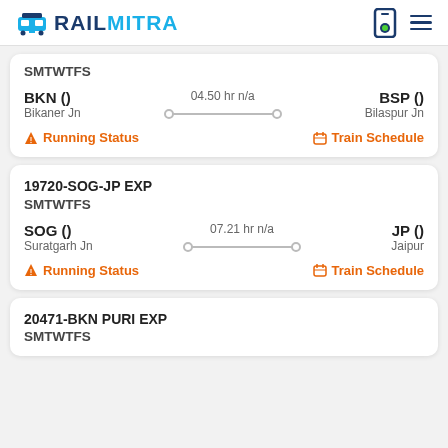RAILMITRA
SMTWTFS
BKN () — 04.50 hr n/a — BSP ()
Bikaner Jn — Bilaspur Jn
Running Status   Train Schedule
19720-SOG-JP EXP
SMTWTFS
SOG () — 07.21 hr n/a — JP ()
Suratgarh Jn — Jaipur
Running Status   Train Schedule
20471-BKN PURI EXP
SMTWTFS